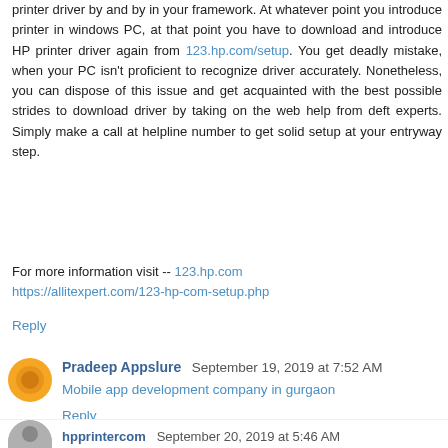printer driver by and by in your framework. At whatever point you introduce printer in windows PC, at that point you have to download and introduce HP printer driver again from 123.hp.com/setup. You get deadly mistake, when your PC isn't proficient to recognize driver accurately. Nonetheless, you can dispose of this issue and get acquainted with the best possible strides to download driver by taking on the web help from deft experts. Simply make a call at helpline number to get solid setup at your entryway step.
For more information visit -- 123.hp.com
https://allitexpert.com/123-hp-com-setup.php
Reply
Pradeep Appslure  September 19, 2019 at 7:52 AM
Mobile app development company in gurgaon
Reply
hpprintercom  September 20, 2019 at 5:46 AM